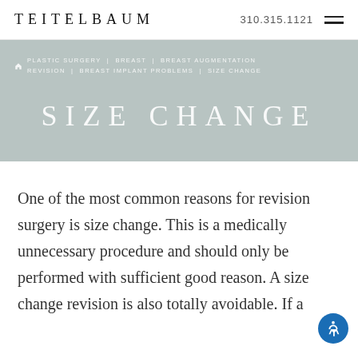TEITELBAUM  310.315.1121
[Figure (other): Breadcrumb navigation: home icon, PLASTIC SURGERY | BREAST | BREAST AUGMENTATION REVISION | BREAST IMPLANT PROBLEMS | SIZE CHANGE]
SIZE CHANGE
One of the most common reasons for revision surgery is size change. This is a medically unnecessary procedure and should only be performed with sufficient good reason. A size change revision is also totally avoidable. If a